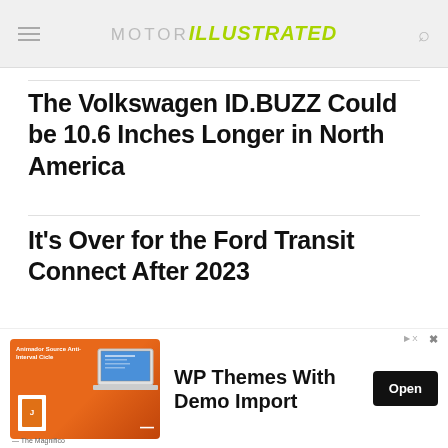MOTOR ILLUSTRATED
The Volkswagen ID.BUZZ Could be 10.6 Inches Longer in North America
It's Over for the Ford Transit Connect After 2023
FILED UNDER  TOYOTA  TOYOTA COROLLA  TOYOTA GR COROLLA
[Figure (infographic): Advertisement banner for WP Themes With Demo Import showing orange-themed image with laptop, Open button]